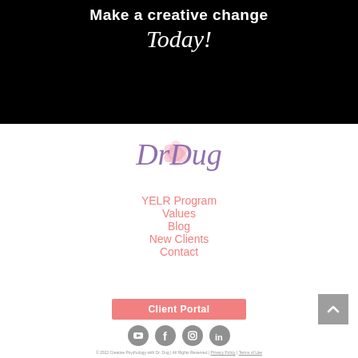Make a creative change Today!
[Figure (logo): Dr. Dug script logo with pink flower accent in purple/mauve cursive script]
YELR Program
Values
Blog
New Clients
Contact
Client Portal
[Figure (infographic): Social media icons: YouTube, Facebook, Instagram, LinkedIn — all in gray circles]
© 2022 Creative Psychology with Dr. Dug | All Rights Reserved | Privacy Policy | Terms of Use